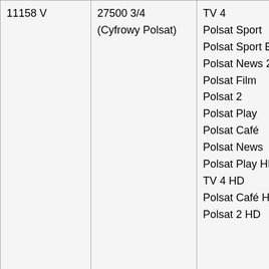| 11158 V | 27500 3/4
(Cyfrowy Polsat) | TV 4
Polsat Sport
Polsat Sport Extra
Polsat News 2
Polsat Film
Polsat 2
Polsat Play
Polsat Café
Polsat News
Polsat Play HD
TV 4 HD
Polsat Café HD
Polsat 2 HD |
|  |  | Al Malakoot Sat (The Kingdom Sat)
Alkarma TV Middle East
TVP Polonia
TVR International
Tele Padre Pio
DMC Shop |